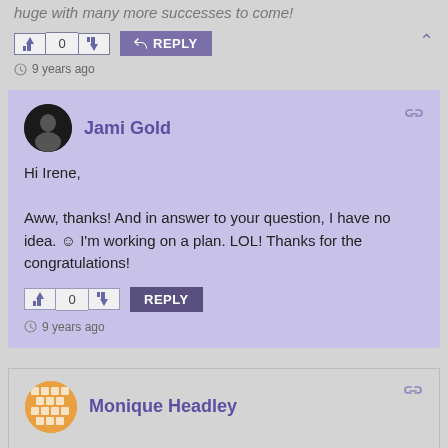huge with many more successes to come!
0
REPLY
9 years ago
Jami Gold
Hi Irene,
Aww, thanks! And in answer to your question, I have no idea. 😊 I'm working on a plan. LOL! Thanks for the congratulations!
0
REPLY
9 years ago
Monique Headley
Congratulations, Jami! That is amazing and much